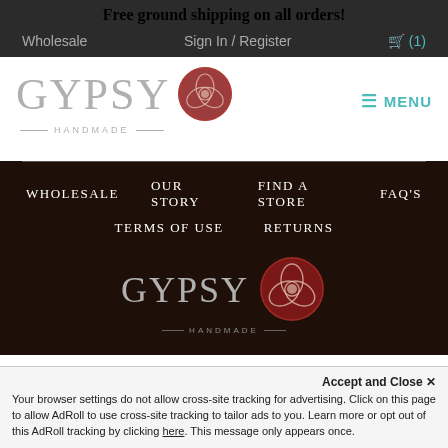Free ground shipping on all orders!
Wholesale   Sign In / Register   🛒 (1)
[Figure (logo): Gypsy Handmade logo with large grey serif text 'GYPSY' and a red circular emblem, with 'HANDMADE' in small spaced caps below]
≡ MENU
WHOLESALE
OUR STORY
FIND A STORE
FAQ'S
TERMS OF USE
RETURNS
[Figure (logo): Gypsy Handmade footer logo with grey serif text 'GYPSY' and a red circular emblem, with 'HANDMADE' in small spaced caps below, on dark background]
Accept and Close ✕
Your browser settings do not allow cross-site tracking for advertising. Click on this page to allow AdRoll to use cross-site tracking to tailor ads to you. Learn more or opt out of this AdRoll tracking by clicking here. This message only appears once.